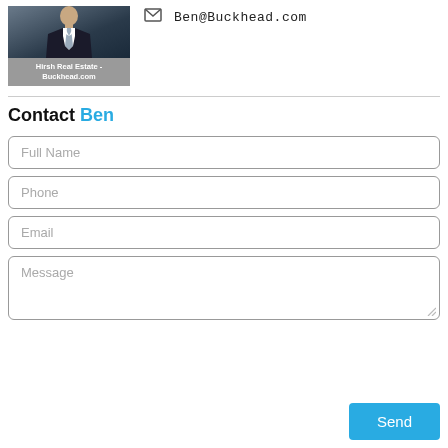[Figure (photo): Headshot photo of a man in a suit and tie]
Hirsh Real Estate - Buckhead.com
Ben@Buckhead.com
Contact Ben
Full Name
Phone
Email
Message
Send